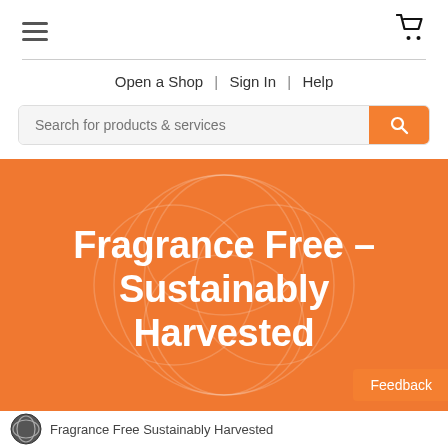Navigation header with hamburger menu and cart icon
Open a Shop | Sign In | Help
Search for products & services
Fragrance Free – Sustainably Harvested
Feedback
Fragrance Free Sustainably Harvested